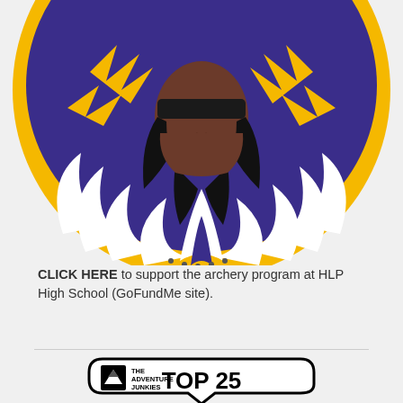[Figure (illustration): Circular illustrated logo featuring a Native American figure with headdress in purple, yellow/gold, black and white colors, shown from the chest up against a yellow circular background with feather-like design elements.]
CLICK HERE to support the archery program at HLP High School (GoFundMe site).
[Figure (logo): The Adventure Junkies badge logo — a rounded shield/pennant shape in white with black border, containing a black square with mountain triangle logo, text 'THE ADVENTURE JUNKIES', and large bold text 'TOP 25' at the bottom.]